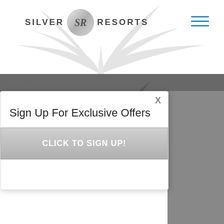[Figure (logo): Silver Resorts logo with circular SR emblem and palm tree background in header]
[Figure (illustration): Dark gray palm tree silhouette banner image]
Sign Up For Exclusive Offers
CLICK TO SIGN UP!